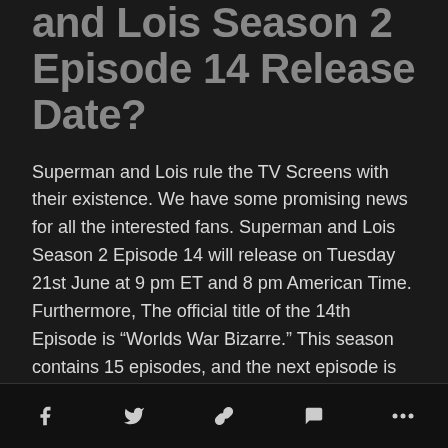and Lois Season 2 Episode 14 Release Date?
Superman and Lois rule the TV Screens with their existence. We have some promising news for all the interested fans. Superman and Lois Season 2 Episode 14 will release on Tuesday 21st June at 9 pm ET and 8 pm American Time. Furthermore, The official title of the 14th Episode is “Worlds War Bizarre.” This season contains 15 episodes, and the next episode is the finale. The fans have stayed for a prolonged period for this Episode, and it surely won’t dishearten us. Fans, get ready to be at the edge of your seats.
Social share icons: Facebook, Twitter, Link, Comment, More